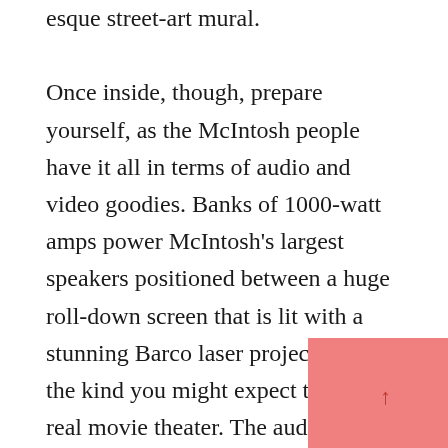esque street-art mural.

Once inside, though, prepare yourself, as the McIntosh people have it all in terms of audio and video goodies. Banks of 1000-watt amps power McIntosh's largest speakers positioned between a huge roll-down screen that is lit with a stunning Barco laser projector–like the kind you might expect to see in a real movie theater. The audio spaces are very nicely appointed in terms of interior design, but not in a way that makes you forget that you are there to hear McIntosh, Audio Research, Sonus faber, and whatnot. There are good vignettes to experience all of the different levels of the products that the McIntosh brand has to offer.